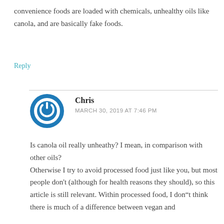convenience foods are loaded with chemicals, unhealthy oils like canola, and are basically fake foods.
Reply
Chris
MARCH 30, 2019 AT 7:46 PM
Is canola oil really unheathy? I mean, in comparison with other oils?
Otherwise I try to avoid processed food just like you, but most people don’t (although for health reasons they should), so this article is still relevant. Within processed food, I don“t think there is much of a difference between vegan and